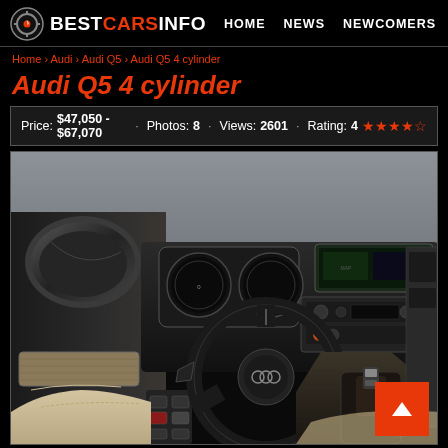BESTCARSINFO | HOME NEWS NEWCOMERS
Home › Audi › Audi Q5 › Audi Q5 4 cylinder
Audi Q5 4 cylinder
Price: $47,050 - $67,070 · Photos: 8 · Views: 2601 · Rating: 4 ★★★★☆
[Figure (photo): Interior photo of Audi Q5 showing dashboard, steering wheel, center console, door panel, and front seats with beige/cream leather upholstery]